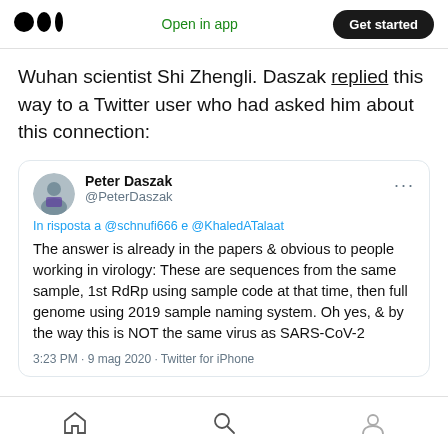Medium logo | Open in app | Get started
Wuhan scientist Shi Zhengli. Daszak replied this way to a Twitter user who had asked him about this connection:
[Figure (screenshot): Tweet from Peter Daszak (@PeterDaszak) replying to @schnufi666 and @KhaledATalaat: 'The answer is already in the papers & obvious to people working in virology: These are sequences from the same sample, 1st RdRp using sample code at that time, then full genome using 2019 sample naming system. Oh yes, & by the way this is NOT the same virus as SARS-CoV-2' — 3:23 PM · 9 mag 2020 · Twitter for iPhone]
Bottom navigation bar with home, search, and profile icons